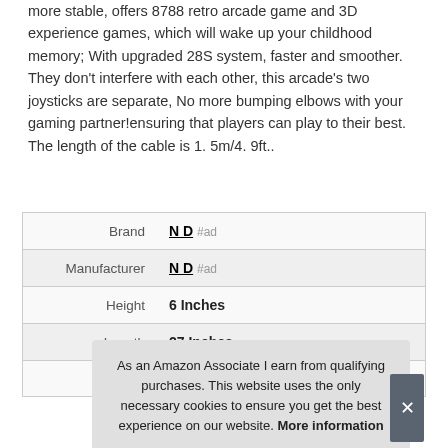more stable, offers 8788 retro arcade game and 3D experience games, which will wake up your childhood memory; With upgraded 28S system, faster and smoother. They don't interfere with each other, this arcade's two joysticks are separate, No more bumping elbows with your gaming partner!ensuring that players can play to their best. The length of the cable is 1. 5m/4. 9ft..
|  |  |
| --- | --- |
| Brand | N D #ad |
| Manufacturer | N D #ad |
| Height | 6 Inches |
| Length | 27 Inches |
| P |  |
As an Amazon Associate I earn from qualifying purchases. This website uses the only necessary cookies to ensure you get the best experience on our website. More information
More information #ad